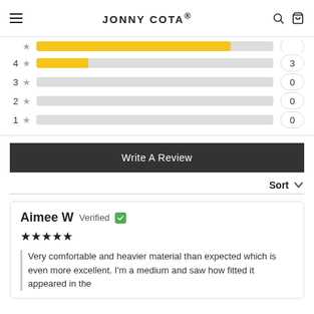JONNY COTA®
[Figure (bar-chart): Star rating distribution]
Write A Review
Sort
Aimee W  Verified
★★★★★
Very comfortable and heavier material than expected which is even more excellent. I'm a medium and saw how fitted it appeared in the